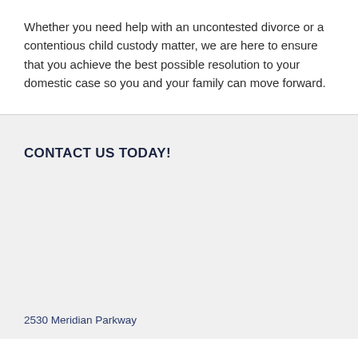Whether you need help with an uncontested divorce or a contentious child custody matter, we are here to ensure that you achieve the best possible resolution to your domestic case so you and your family can move forward.
CONTACT US TODAY!
2530 Meridian Parkway